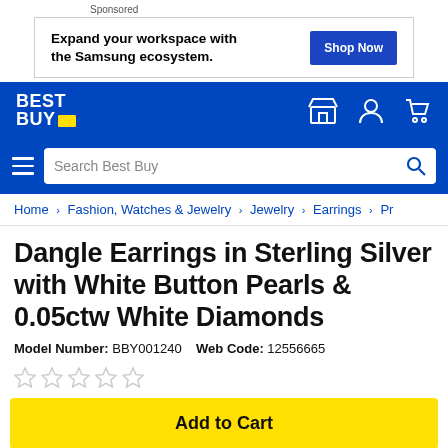Sponsored
[Figure (screenshot): Best Buy sponsored ad banner: 'Expand your workspace with the Samsung ecosystem.' with a 'Shop Now' button]
[Figure (screenshot): Best Buy navigation bar with logo, store icon, account icon, and cart icon]
[Figure (screenshot): Best Buy search bar with hamburger menu and 'Search Best Buy' placeholder text]
Home > Fashion, Watches & Jewelry > Jewelry > Earrings > Pr
Dangle Earrings in Sterling Silver with White Button Pearls & 0.05ctw White Diamonds
Model Number: BBY001240   Web Code: 12556665
[Figure (other): Five empty star rating icons]
Add to Cart